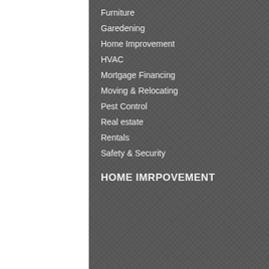Furniture
Garedening
Home Improvement
HVAC
Mortgage Financing
Moving & Relocating
Pest Control
Real estate
Rentals
Safety & Security
HOME IMRPOVEMENT